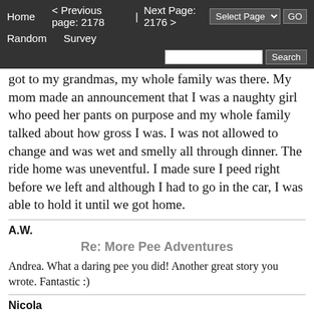Home  < Previous page: 2178  |  Next Page: 2176 >  Random  Survey  Select Page  GO  Search
got to my grandmas, my whole family was there. My mom made an announcement that I was a naughty girl who peed her pants on purpose and my whole family talked about how gross I was. I was not allowed to change and was wet and smelly all through dinner. The ride home was uneventful. I made sure I peed right before we left and although I had to go in the car, I was able to hold it until we got home.
A.W.
Re: More Pee Adventures
Andrea. What a daring pee you did! Another great story you wrote. Fantastic :)
Nicola